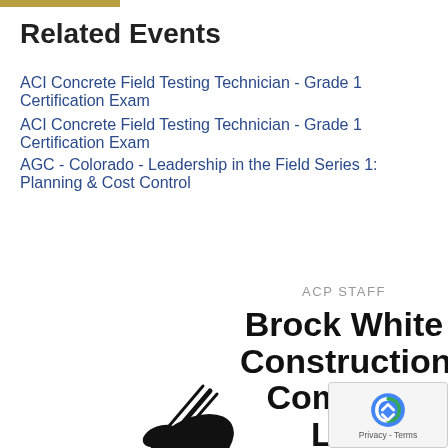Related Events
ACI Concrete Field Testing Technician - Grade 1 Certification Exam
ACI Concrete Field Testing Technician - Grade 1 Certification Exam
AGC - Colorado - Leadership in the Field Series 1: Planning & Cost Control
ACP STAFF
Brock White Construction Company LLC Announces New Acquisition
[Figure (illustration): Black silhouette illustration of a hand holding a pen/quill writing]
[Figure (logo): Google reCAPTCHA badge with arrows icon and Privacy - Terms text]